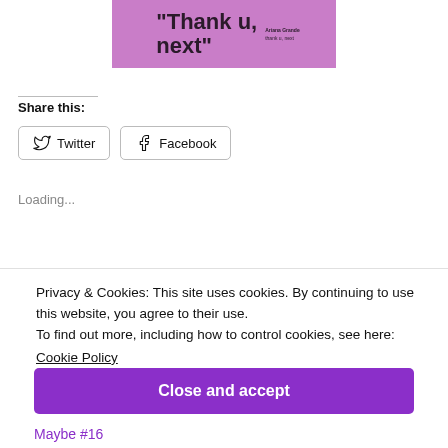[Figure (illustration): Purple album cover with bold text reading "Thank u, next" with a small artist name and title text on the right side]
Share this:
Twitter  Facebook
Loading...
Privacy & Cookies: This site uses cookies. By continuing to use this website, you agree to their use.
To find out more, including how to control cookies, see here:
Cookie Policy
Close and accept
Maybe #16